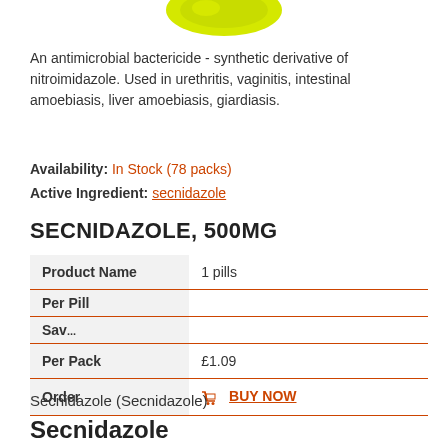[Figure (photo): Partial view of a yellow/green pill or capsule product image at top of page]
An antimicrobial bactericide - synthetic derivative of nitroimidazole. Used in urethritis, vaginitis, intestinal amoebiasis, liver amoebiasis, giardiasis.
Availability: In Stock (78 packs)
Active Ingredient: secnidazole
SECNIDAZOLE, 500MG
| Product Name | 1 pills |
| --- | --- |
| Per Pill |  |
| Savings |  |
| Per Pack | £1.09 |
| Order | BUY NOW |
Secnidazole (Secnidazole)
Secnidazole